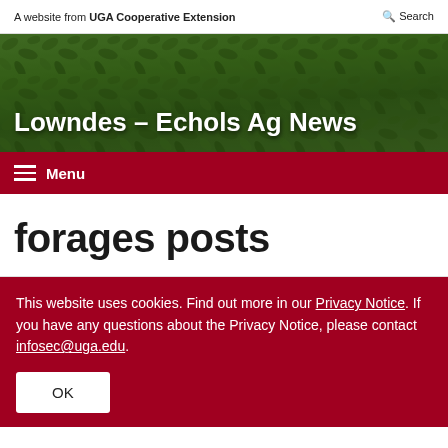A website from UGA Cooperative Extension | Search
[Figure (photo): Green leafy crop foliage background image for Lowndes-Echols Ag News website header]
Lowndes – Echols Ag News
Menu
forages posts
This website uses cookies. Find out more in our Privacy Notice. If you have any questions about the Privacy Notice, please contact infosec@uga.edu.
OK